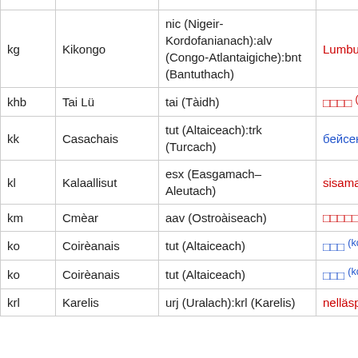| Code | Language | Family | Example |
| --- | --- | --- | --- |
| kg | Kikongo | nic (Nigeir-Kordofanianach):alv (Congo-Atlantaigiche):bnt (Bantuthach) | Lumbu k |
| khb | Tai Lü | tai (Tàidh) | □□□□ (khb) |
| kk | Casachais | tut (Altaiceach):trk (Turcach) | бейсенб |
| kl | Kalaallisut | esx (Easgamach–Aleutach) | sisaman |
| km | Cmèar | aav (Ostroàiseach) | □□□□□□□□□□ |
| ko | Coirèanais | tut (Altaiceach) | □□□ (ko) |
| ko | Coirèanais | tut (Altaiceach) | □□□ (ko) |
| krl | Karelis | urj (Uralach):krl (Karelis) | nelläspä |